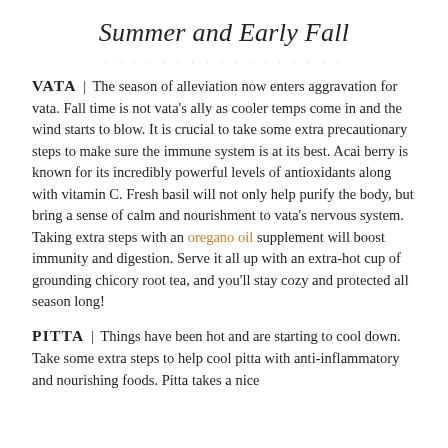Summer and Early Fall
VATA | The season of alleviation now enters aggravation for vata. Fall time is not vata's ally as cooler temps come in and the wind starts to blow. It is crucial to take some extra precautionary steps to make sure the immune system is at its best. Acai berry is known for its incredibly powerful levels of antioxidants along with vitamin C. Fresh basil will not only help purify the body, but bring a sense of calm and nourishment to vata's nervous system. Taking extra steps with an oregano oil supplement will boost immunity and digestion. Serve it all up with an extra-hot cup of grounding chicory root tea, and you'll stay cozy and protected all season long!
PITTA | Things have been hot and are starting to cool down. Take some extra steps to help cool pitta with anti-inflammatory and nourishing foods. Pitta takes a nice...